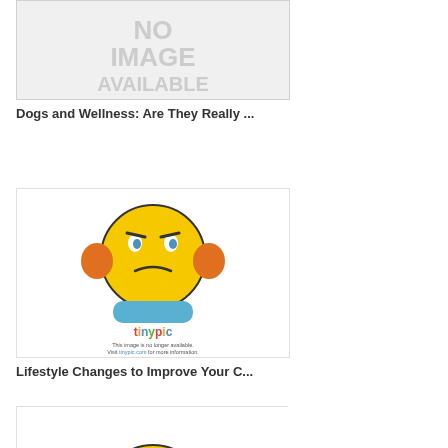[Figure (other): No image available placeholder box with grey background and 'NO IMAGE AVAILABLE' text]
Dogs and Wellness: Are They Really ...
[Figure (other): Tinypic placeholder image showing a yellow angry emoji face with orange ears and blue hands, with text 'This image is no longer available. Visit tinypic.com for more information.']
Lifestyle Changes to Improve Your C...
[Figure (other): Another Tinypic placeholder image showing a yellow emoji face, partially visible at bottom of page]